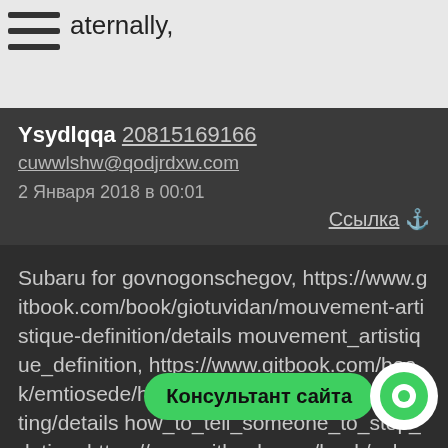aternally,
Ysydlqqa 20815169166
cuwwlshw@qodjrdxw.com 2 Января 2018 в 00:01
Ссылка ⚓
Subaru for govnogonschegov, https://www.gitbook.com/book/giotuvidan/mouvement-artistique-definition/details mouvement_artistique_definition, https://www.gitbook.com/book/emtiosede/how-to-tell-someone-to-stop-dating/details how_to_tell_someone_to_stop_dating, https://www.gitbook.com/book/calpaocadjco/hookah-hookup-birthday/details hookah_hookup_birthday, https://www.gitbook.co the-definition-of-radiometric-dating/details what_is_the_definition_of_radiometric_dating,
Консультант сайта